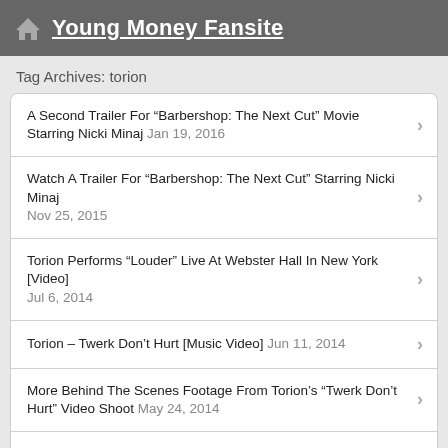Young Money Fansite
Tag Archives: torion
A Second Trailer For “Barbershop: The Next Cut” Movie Starring Nicki Minaj Jan 19, 2016
Watch A Trailer For “Barbershop: The Next Cut” Starring Nicki Minaj Nov 25, 2015
Torion Performs “Louder” Live At Webster Hall In New York [Video] Jul 6, 2014
Torion – Twerk Don’t Hurt [Music Video] Jun 11, 2014
More Behind The Scenes Footage From Torion’s “Twerk Don’t Hurt” Video Shoot May 24, 2014
Behind The Scenes Of Torion’s “Twerk Don’t Hurt” [Video] May 17, 2014